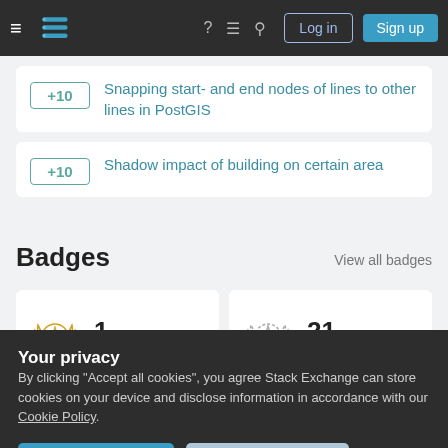Stack Exchange navigation bar with Log in and Sign up buttons
+10 Snapping start- and end nodes of lines to other lines in PostGIS
+10 Shadow impact of building on certain area
Badges
View all badges
1 gold badge
21 silver badges
Your privacy
By clicking "Accept all cookies", you agree Stack Exchange can store cookies on your device and disclose information in accordance with our Cookie Policy.
Accept all cookies
Customize settings
26